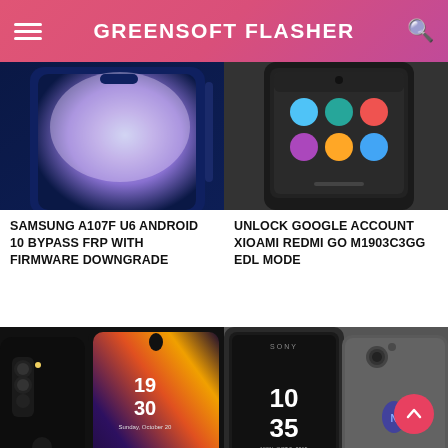GREENSOFT FLASHER
[Figure (photo): Samsung A107F smartphone front view with gradient wallpaper, dark blue color]
[Figure (photo): Xiaomi Redmi Go phone showing home screen with app icons on dark background]
SAMSUNG A107F U6 ANDROID 10 BYPASS FRP WITH FIRMWARE DOWNGRADE
UNLOCK GOOGLE ACCOUNT XIOAMI REDMI GO M1903C3GG EDL MODE
[Figure (photo): OPPO smartphone in black color showing lock screen with time 19:30, gradient back cover]
[Figure (photo): Sony Xperia XA Ultra front and back views, showing time 10:35 on screen, gray color]
SONY XPERIA XA ULTRA